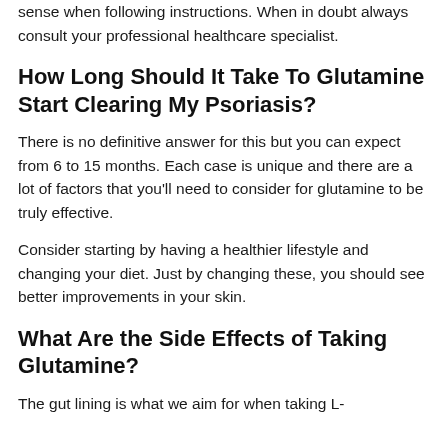sense when following instructions. When in doubt always consult your professional healthcare specialist.
How Long Should It Take To Glutamine Start Clearing My Psoriasis?
There is no definitive answer for this but you can expect from 6 to 15 months. Each case is unique and there are a lot of factors that you'll need to consider for glutamine to be truly effective.
Consider starting by having a healthier lifestyle and changing your diet. Just by changing these, you should see better improvements in your skin.
What Are the Side Effects of Taking Glutamine?
The gut lining is what we aim for when taking L-